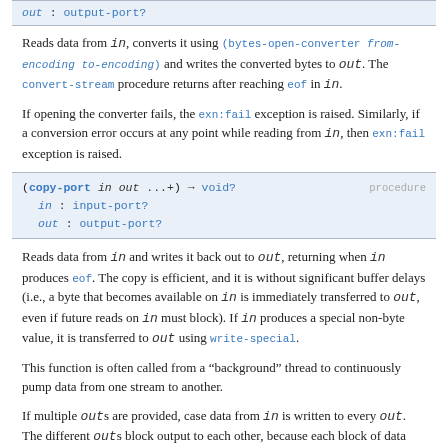out : output-port?
Reads data from in, converts it using (bytes-open-converter from-encoding to-encoding) and writes the converted bytes to out. The convert-stream procedure returns after reaching eof in in.
If opening the converter fails, the exn:fail exception is raised. Similarly, if a conversion error occurs at any point while reading from in, then exn:fail exception is raised.
| (copy-port in out ...+) → void? | procedure |
| in : input-port? |  |
| out : output-port? |  |
Reads data from in and writes it back out to out, returning when in produces eof. The copy is efficient, and it is without significant buffer delays (i.e., a byte that becomes available on in is immediately transferred to out, even if future reads on in must block). If in produces a special non-byte value, it is transferred to out using write-special.
This function is often called from a "background" thread to continuously pump data from one stream to another.
If multiple outs are provided, case data from in is written to every out. The different outs block output to each other, because each block of data read from in is written completely to one out before moving to the next out. The outs are written in the provided order, so non-blocking ports (e.g., file output ports)